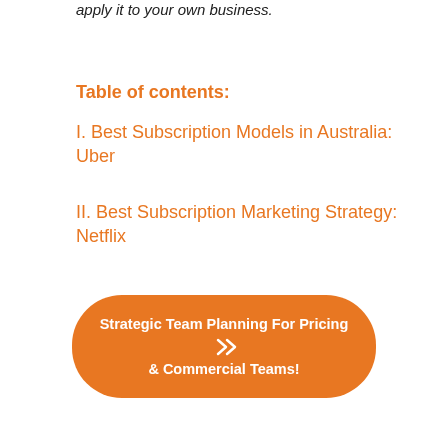apply it to your own business.
Table of contents:
I. Best Subscription Models in Australia: Uber
II. Best Subscription Marketing Strategy: Netflix
[Figure (other): Orange rounded rectangle button with white bold text: 'Strategic Team Planning For Pricing & Commercial Teams!' with double chevron arrow icon]